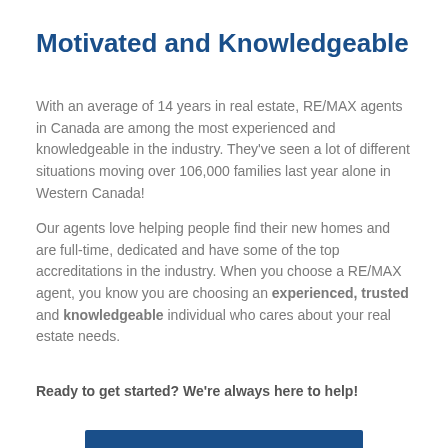Motivated and Knowledgeable
With an average of 14 years in real estate, RE/MAX agents in Canada are among the most experienced and knowledgeable in the industry. They’ve seen a lot of different situations moving over 106,000 families last year alone in Western Canada!
Our agents love helping people find their new homes and are full-time, dedicated and have some of the top accreditations in the industry. When you choose a RE/MAX agent, you know you are choosing an experienced, trusted and knowledgeable individual who cares about your real estate needs.
Ready to get started? We’re always here to help!